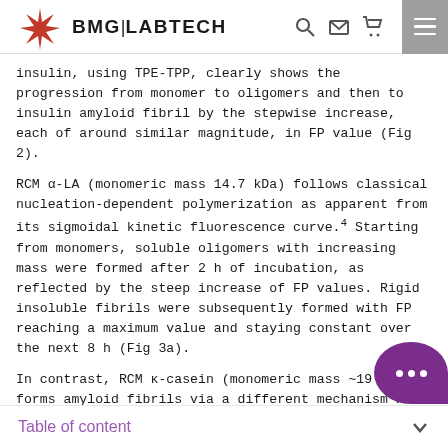BMG LABTECH
insulin, using TPE-TPP, clearly shows the progression from monomer to oligomers and then to insulin amyloid fibril by the stepwise increase, each of around similar magnitude, in FP value (Fig 2).
RCM α-LA (monomeric mass 14.7 kDa) follows classical nucleation-dependent polymerization as apparent from its sigmoidal kinetic fluorescence curve.4 Starting from monomers, soluble oligomers with increasing mass were formed after 2 h of incubation, as reflected by the steep increase of FP values. Rigid insoluble fibrils were subsequently formed with FP reaching a maximum value and staying constant over the next 8 h (Fig 3a).
In contrast, RCM κ-casein (monomeric mass ~19 kDa) forms amyloid fibrils via a different mechanism with the absence of a significant lag phase. In solution 25°C, RCM κ-casein occurs as a spherical partic…
Table of content